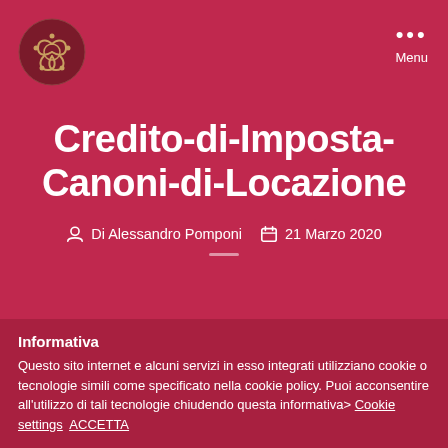[Figure (logo): Circular ornamental logo with intertwined flower/knot design in dark red and gold on crimson background]
Menu
Credito-di-Imposta-Canoni-di-Locazione
Di Alessandro Pomponi   21 Marzo 2020
Informativa
Questo sito internet e alcuni servizi in esso integrati utilizziano cookie o tecnologie simili come specificato nella cookie policy. Puoi acconsentire all'utilizzo di tali tecnologie chiudendo questa informativa> Cookie settings   ACCETTA